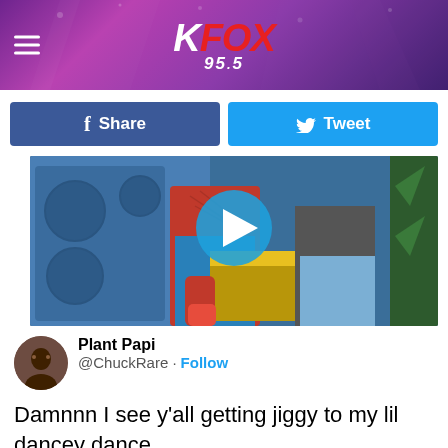KFOX 95.5
Share | Tweet
[Figure (screenshot): Video thumbnail showing a person in a Spider-Man costume dancing with a child at what appears to be a party or event, with a blue play button overlay in the center.]
Plant Papi @ChuckRare · Follow
Damnnn I see y'all getting jiggy to my lil dancey dance.
If you need a creative studio to rent out